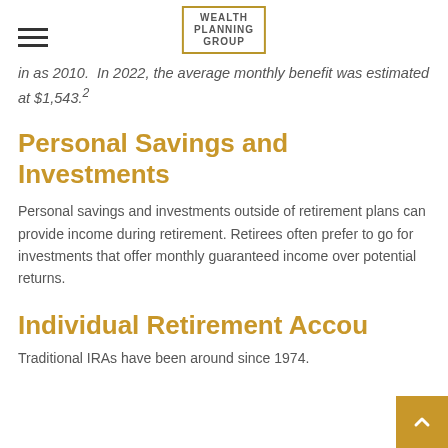WEALTH PLANNING GROUP
in as 2010. In 2022, the average monthly benefit was estimated at $1,543.2
Personal Savings and Investments
Personal savings and investments outside of retirement plans can provide income during retirement. Retirees often prefer to go for investments that offer monthly guaranteed income over potential returns.
Individual Retirement Accou...
Traditional IRAs have been around since 1974.